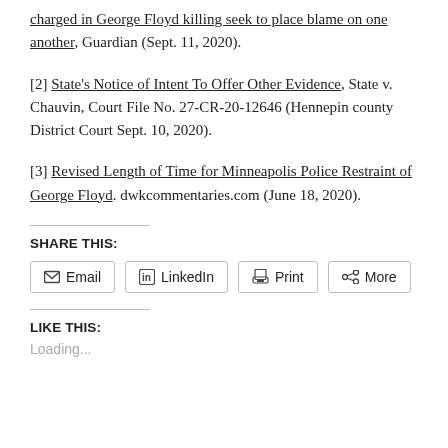charged in George Floyd killing seek to place blame on one another, Guardian (Sept. 11, 2020).
[2] State's Notice of Intent To Offer Other Evidence, State v. Chauvin, Court File No. 27-CR-20-12646 (Hennepin county District Court Sept. 10, 2020).
[3] Revised Length of Time for Minneapolis Police Restraint of George Floyd. dwkcommentaries.com (June 18, 2020).
SHARE THIS:
Email | LinkedIn | Print | More
LIKE THIS:
Loading...